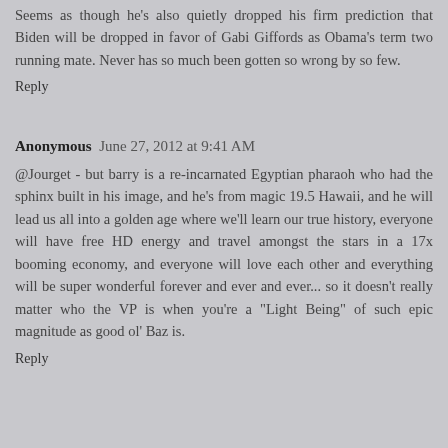Seems as though he's also quietly dropped his firm prediction that Biden will be dropped in favor of Gabi Giffords as Obama's term two running mate. Never has so much been gotten so wrong by so few.
Reply
Anonymous  June 27, 2012 at 9:41 AM
@Jourget - but barry is a re-incarnated Egyptian pharaoh who had the sphinx built in his image, and he's from magic 19.5 Hawaii, and he will lead us all into a golden age where we'll learn our true history, everyone will have free HD energy and travel amongst the stars in a 17x booming economy, and everyone will love each other and everything will be super wonderful forever and ever and ever... so it doesn't really matter who the VP is when you're a "Light Being" of such epic magnitude as good ol' Baz is.
Reply